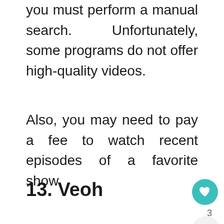you must perform a manual search. Unfortunately, some programs do not offer high-quality videos.
Also, you may need to pay a fee to watch recent episodes of a favorite show.
13. Veoh